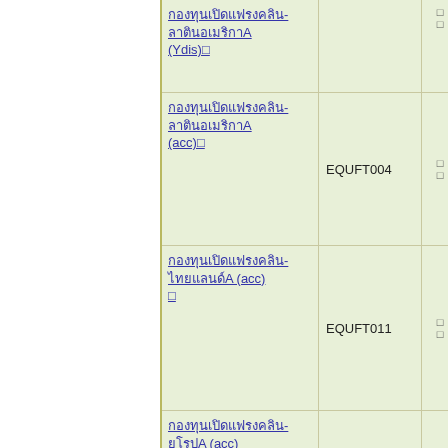| Fund (Thai) | Code |  | Date | Fund Name (English) |
| --- | --- | --- | --- | --- |
| กองทุนเปิดแฟรงคลิน-ลาตินอเมริกาA (Ydis) | EQUFT002 (partial) |  | 2009/07/07 (partial) | Franklin Templeton Investment Funds-Templeton Latin America Fund Class (Ydis) USD |
| กองทุนเปิดแฟรงคลิน-ลาตินอเมริกาA (acc) | EQUFT004 |  | 2009/08/05 | Franklin Templeton Investment Funds-Templeton Latin America Fund Class (acc) USD |
| กองทุนเปิดแฟรงคลิน-ไทยแลนด์A (acc) | EQUFT011 |  | 2010/02/10 | Franklin Templeton Investment Funds-Templeton Thailand Fund Class A (acc) USD |
| กองทุนเปิดแฟรงคลิน-อีสเทิร์นยุโรปA (acc) | EQUFT016 |  | 2010/02/10 | Templeton Eastern European Fund Class A (acc) USD |
| (partial row) |  |  |  | Franklin Templeton (partial) |